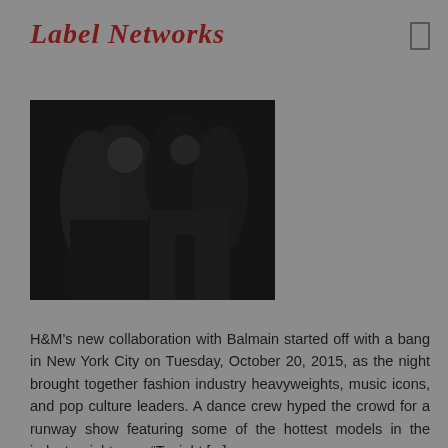Label Networks
[Figure (photo): Dark fashion photo showing people in black clothing, likely from the H&M x Balmain event]
H&M’s new collaboration with Balmain started off with a bang in New York City on Tuesday, October 20, 2015, as the night brought together fashion industry heavyweights, music icons, and pop culture leaders. A dance crew hyped the crowd for a runway show featuring some of the hottest models in the industry right now. “Tonight [...]